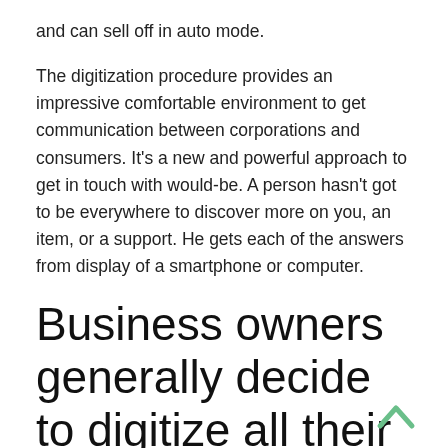and can sell off in auto mode.
The digitization procedure provides an impressive comfortable environment to get communication between corporations and consumers. It's a new and powerful approach to get in touch with would-be. A person hasn't got to be everywhere to discover more on you, an item, or a support. He gets each of the answers from display of a smartphone or computer.
Business owners generally decide to digitize all their business mainly